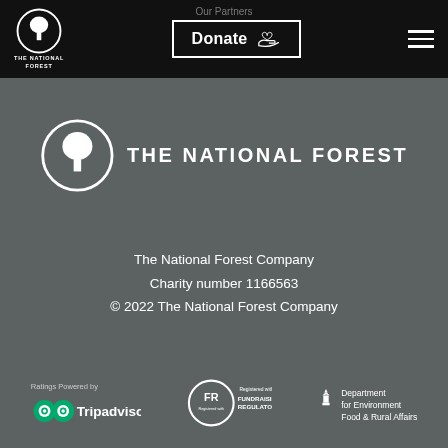Our Partners
[Figure (logo): The National Forest logo in header - white tree in circle with text THE NATIONAL FOREST]
[Figure (other): Donate button with plant/hand icon]
[Figure (other): Hamburger menu icon]
[Figure (logo): The National Forest large logo - white circle tree icon with THE NATIONAL FOREST text]
The National Forest Company
Charity number 1166563
© 2022 The National Forest Company
[Figure (logo): Tripadvisor logo with Ratings Powered by text]
[Figure (logo): FR Fundraising Regulator logo]
[Figure (logo): Department for Environment Food & Rural Affairs logo with crown emblem]